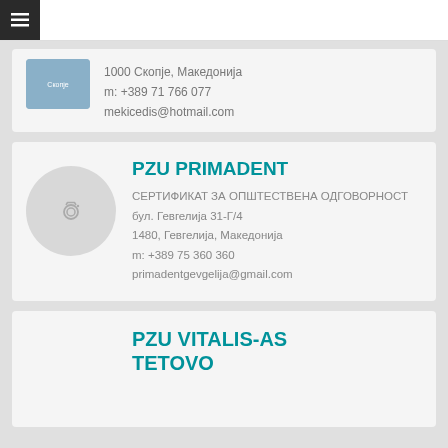[Figure (logo): Navigation bar with hamburger menu icon, top left corner]
1000 Скопје, Македонија
m: +389 71 766 077
mekicedis@hotmail.com
PZU PRIMADENT
СЕРТИФИКАТ ЗА ОПШТЕСТВЕНА ОДГОВОРНОСТ
бул. Гевгелија 31-Г/4
1480, Гевгелија, Македонија
m: +389 75 360 360
primadentgevgelija@gmail.com
PZU VITALIS-AS TETOVO